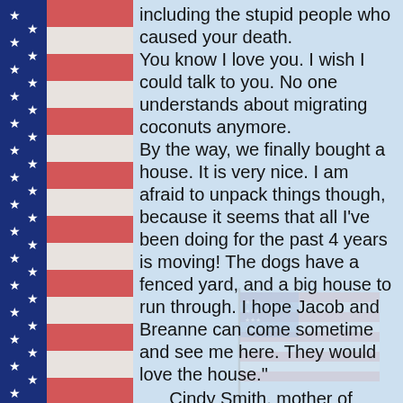[Figure (illustration): Decorative left border featuring an American flag pattern with alternating red stripes and white stripes, and a blue field with white stars on the left edge.]
including the stupid people who caused your death. You know I love you. I wish I could talk to you. No one understands about migrating coconuts anymore. By the way, we finally bought a house. It is very nice. I am afraid to unpack things though, because it seems that all I've been doing for the past 4 years is moving! The dogs have a fenced yard, and a big house to run through. I hope Jacob and Breanne can come sometime and see me here. They would love the house." Cindy Smith, mother of Marine Sgt. Jacob N. Maynard and Marine
[Figure (illustration): Faded/ghosted American flag waving on a pole, positioned in the lower right area of the page content.]